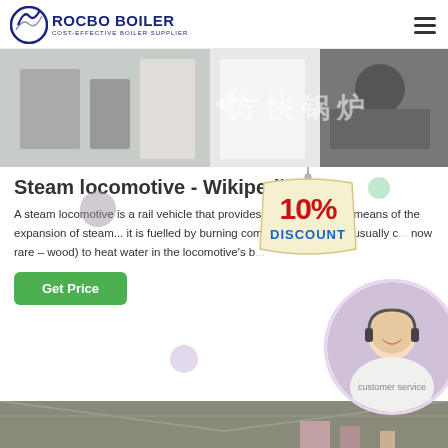ROCBO BOILER — COST-EFFECTIVE BOILER SUPPLIER
[Figure (photo): Industrial boiler equipment photo with Chinese watermark text]
Steam locomotive - Wikipedia
[Figure (infographic): 10% Discount promotional badge overlay]
A steam locomotive is a rail vehicle that provides its own power by burning combustible material (usually coal, now rare – wood) to heat water in the locomotive's boiler...
[Figure (photo): Customer service agent with headset, circular crop]
[Figure (photo): Industrial interior/warehouse bottom banner photo]